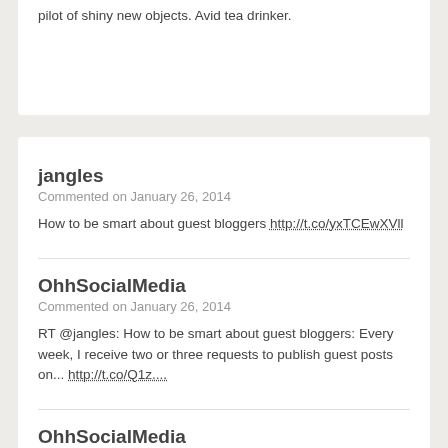pilot of shiny new objects. Avid tea drinker.
jangles
Commented on January 26, 2014
How to be smart about guest bloggers http://t.co/yxTCEwXVll
OhhSocialMedia
Commented on January 26, 2014
RT @jangles: How to be smart about guest bloggers: Every week, I receive two or three requests to publish guest posts on... http://t.co/Q1z....
OhhSocialMedia
Commented on January 26, 2014